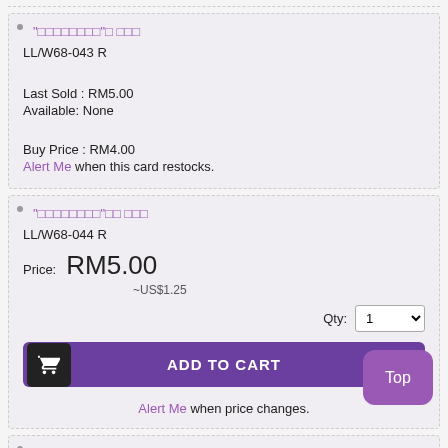"□□□□□□□□"□ □□□
LL/W68-043 R
Last Sold : RM5.00
Available: None
Buy Price : RM4.00
Alert Me when this card restocks.
"□□□□□□□□"□□ □□□
LL/W68-044 R
Price: RM5.00 ~US$1.25
Qty: 1
ADD TO CART
Alert Me when price changes.
"□□□□□□□□"□□ □□
LL/W68-045 R